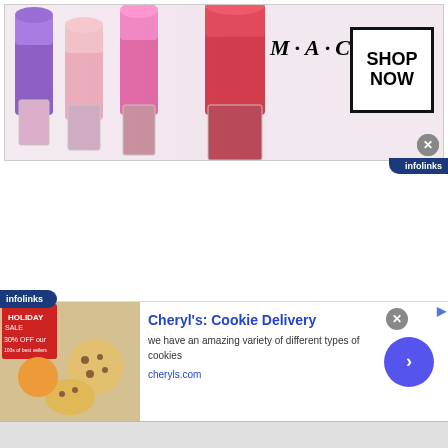[Figure (photo): MAC cosmetics banner advertisement showing lipsticks on the left, MAC logo in the center, and a 'SHOP NOW' button on the right with a close X button]
[Figure (logo): Infolinks badge in dark blue at top right of banner]
[Figure (logo): Infolinks badge in dark blue at bottom left]
[Figure (photo): Cheryl's Cookie Delivery advertisement with cookie image on left, title, description text, cheryls.com URL, close button, and blue arrow button]